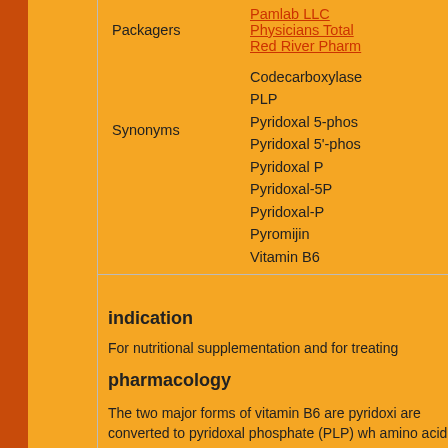| Field | Value |
| --- | --- |
| Packagers | Pamlab LLC
Physicians Total
Red River Pharm |
| Synonyms | Codecarboxylase
PLP
Pyridoxal 5-phos
Pyridoxal 5'-phos
Pyridoxal P
Pyridoxal-5P
Pyridoxal-P
Pyromijin
Vitamin B6 |
indication
For nutritional supplementation and for treating
pharmacology
The two major forms of vitamin B6 are pyridoxi are converted to pyridoxal phosphate (PLP) wh amino acid metabolism. PLP also is necessary the release of glucose from glycogen. Pyroluria deficiency.